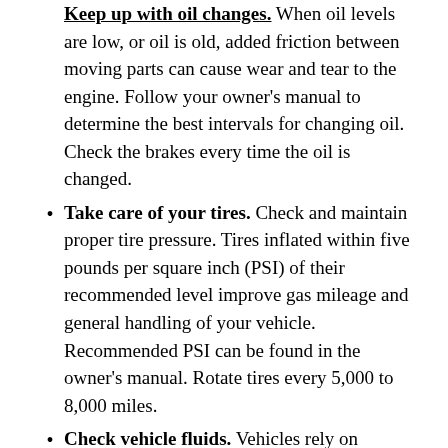Keep up with oil changes. When oil levels are low, or oil is old, added friction between moving parts can cause wear and tear to the engine. Follow your owner's manual to determine the best intervals for changing oil. Check the brakes every time the oil is changed.
Take care of your tires. Check and maintain proper tire pressure. Tires inflated within five pounds per square inch (PSI) of their recommended level improve gas mileage and general handling of your vehicle. Recommended PSI can be found in the owner's manual. Rotate tires every 5,000 to 8,000 miles.
Check vehicle fluids. Vehicles rely on transmission fluid, brake fluid, power steering fluid and properly mixed coolant to run. Fluids need to be topped off for optimal vehicle performance throughout the life of the vehicle.
Change air filters regularly. Dust and grime